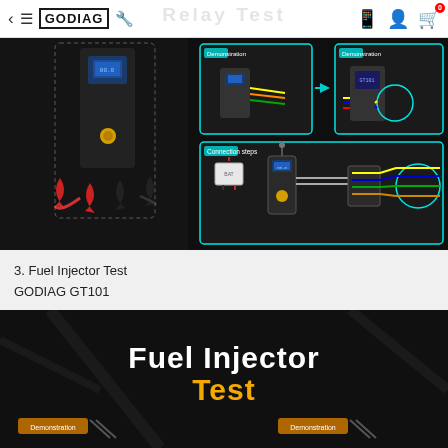GODIAG
[Figure (screenshot): GODIAG GT101 device demonstration showing connection steps with relay circuit tester, wiring harness, and close-up of colored wire connections. Dark background with cyan-bordered panels.]
3. Fuel Injector Test
GODIAG GT101
[Figure (screenshot): Fuel Injector Test banner on dark background with 'Fuel Injector' in bold white and 'Test' in gold/orange, with Demonstration labels at bottom.]